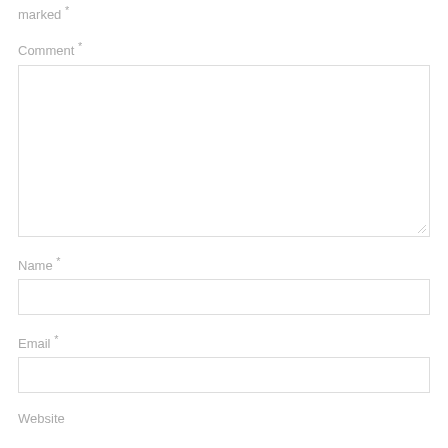marked *
Comment *
[Figure (other): Comment textarea input field]
Name *
[Figure (other): Name text input field]
Email *
[Figure (other): Email text input field]
Website